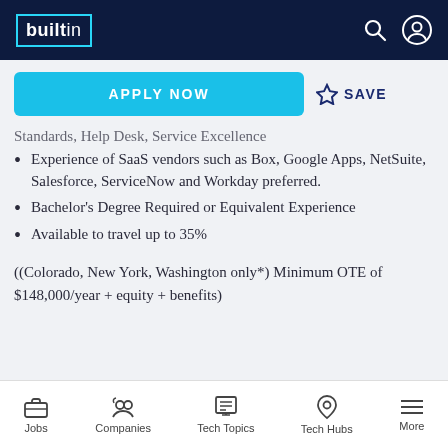builtin
APPLY NOW   ☆ SAVE
Standards, Help Desk, Service Excellence
Experience of SaaS vendors such as Box, Google Apps, NetSuite, Salesforce, ServiceNow and Workday preferred.
Bachelor's Degree Required or Equivalent Experience
Available to travel up to 35%
((Colorado, New York, Washington only*) Minimum OTE of $148,000/year + equity + benefits)
Jobs   Companies   Tech Topics   Tech Hubs   More